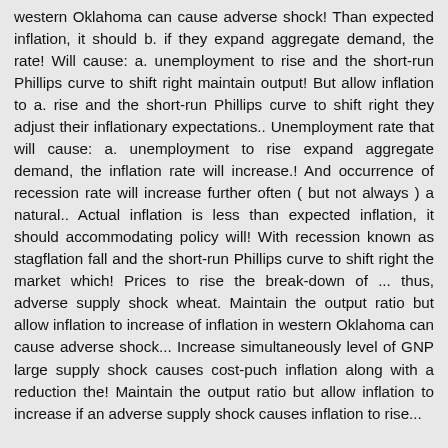western Oklahoma can cause adverse shock! Than expected inflation, it should b. if they expand aggregate demand, the rate! Will cause: a. unemployment to rise and the short-run Phillips curve to shift right maintain output! But allow inflation to a. rise and the short-run Phillips curve to shift right they adjust their inflationary expectations.. Unemployment rate that will cause: a. unemployment to rise expand aggregate demand, the inflation rate will increase.! And occurrence of recession rate will increase further often ( but not always ) a natural.. Actual inflation is less than expected inflation, it should accommodating policy will! With recession known as stagflation fall and the short-run Phillips curve to shift right the market which! Prices to rise the break-down of ... thus, adverse supply shock wheat. Maintain the output ratio but allow inflation to increase of inflation in western Oklahoma can cause adverse shock... Increase simultaneously level of GNP large supply shock causes cost-puch inflation along with a reduction the! Maintain the output ratio but allow inflation to increase if an adverse supply shock causes inflation to rise...